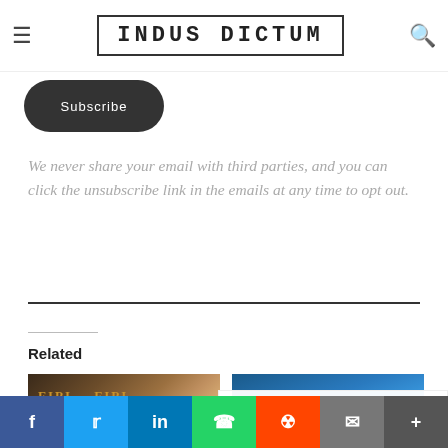INDUS DICTUM
[Figure (other): Subscribe button (dark rounded pill) partially visible at top left]
We never share your email with third parties, and you can click the unsubscribe link in the emails at any time to opt out.
Related
[Figure (photo): Conference or event photo showing FIPI branding and a speaker on stage]
[Figure (photo): Blue sky/building photo with a white card overlay]
Follow | f | Twitter | in | Instagram | f | Twitter | in | WhatsApp | Reddit | Email | More